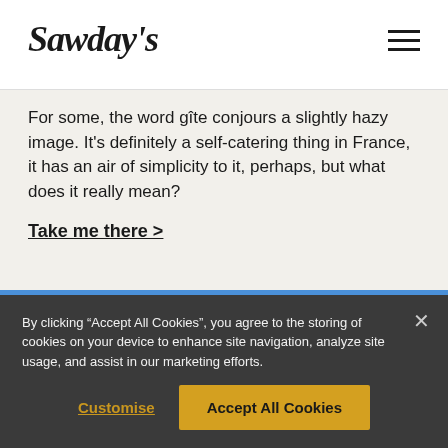Sawday's
For some, the word gîte conjours a slightly hazy image. It's definitely a self-catering thing in France, it has an air of simplicity to it, perhaps, but what does it really mean?
Take me there >
[Figure (photo): Blue image placeholder banner]
By clicking "Accept All Cookies", you agree to the storing of cookies on your device to enhance site navigation, analyze site usage, and assist in our marketing efforts.
Customise   Accept All Cookies